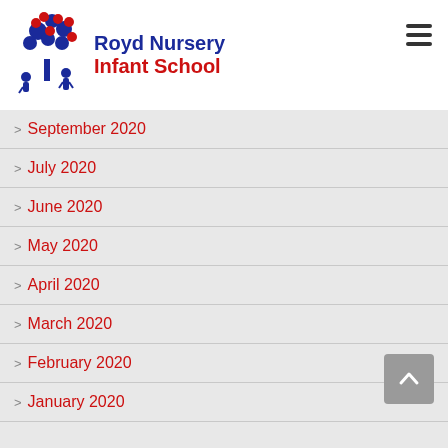[Figure (logo): Royd Nursery Infant School logo with stylized tree made of blue and red circles, and two children silhouettes]
September 2020
July 2020
June 2020
May 2020
April 2020
March 2020
February 2020
January 2020